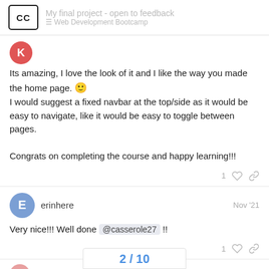My final project - open to feedback | Web Development Bootcamp
[Figure (logo): CC (Codecademy-style) logo — square with rounded corners, letters CC inside]
Its amazing, I love the look of it and I like the way you made the home page. 🙂 I would suggest a fixed navbar at the top/side as it would be easy to navigate, like it would be easy to toggle between pages.

Congrats on completing the course and happy learning!!!
1
erinhere Nov '21
Very nice!!! Well done @casserole27 !!
1
2 / 10
casserole27